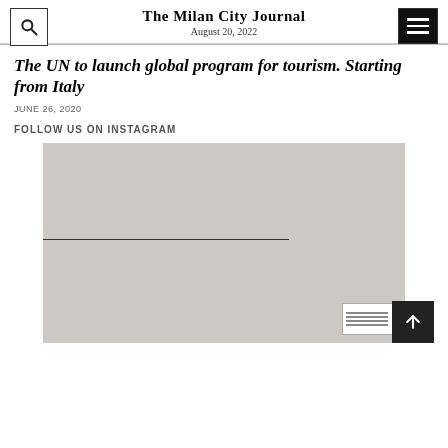The Milan City Journal
August 20, 2022
The UN to launch global program for tourism. Starting from Italy
JUNE 26, 2020
FOLLOW US ON INSTAGRAM
[Figure (photo): A minimalist artwork or museum exhibit photo showing a gray background with a single thin horizontal dark line across the middle, with a small label card visible in the bottom right corner.]